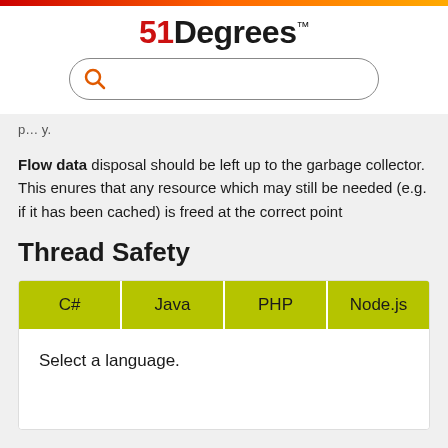[Figure (logo): 51Degrees logo with red '51' and black 'Degrees' text, TM mark]
[Figure (screenshot): Search bar with orange search icon]
Flow data disposal should be left up to the garbage collector. This enures that any resource which may still be needed (e.g. if it has been cached) is freed at the correct point
Thread Safety
| C# | Java | PHP | Node.js |
| --- | --- | --- | --- |
| Select a language. |  |  |  |